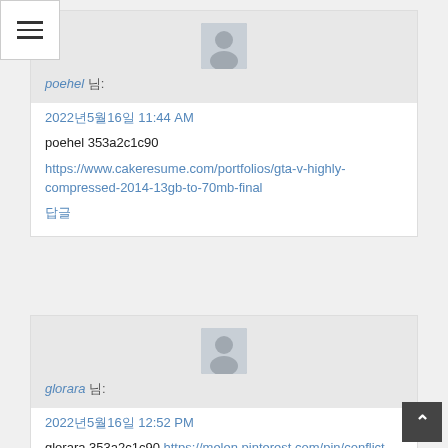[Figure (other): Hamburger menu button with three horizontal lines]
poehel 님:
2022년5월16일 11:44 AM
poehel 353a2c1c90
https://www.cakeresume.com/portfolios/gta-v-highly-compressed-2014-13gb-to-70mb-final
답글
glorara 님:
2022년5월16일 12:52 PM
glorara 353a2c1c90 https://melen.pinterest.com/pin/conflict